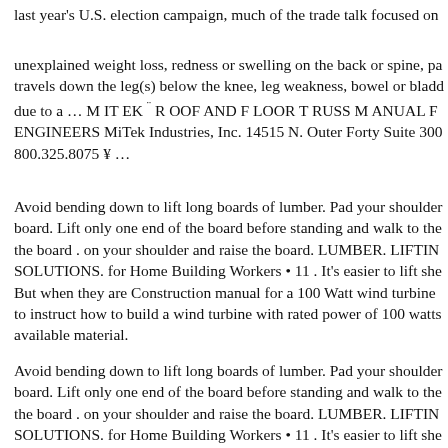last year's U.S. election campaign, much of the trade talk focused on
unexplained weight loss, redness or swelling on the back or spine, pa travels down the leg(s) below the knee, leg weakness, bowel or blad due to a … M IT EK ¨ R OOF AND F LOOR T RUSS M ANUAL F ENGINEERS MiTek Industries, Inc. 14515 N. Outer Forty Suite 30 800.325.8075 ¥ …
Avoid bending down to lift long boards of lumber. Pad your shoulder board. Lift only one end of the board before standing and walk to the the board . on your shoulder and raise the board. LUMBER. LIFTIN SOLUTIONS. for Home Building Workers • 11 . It's easier to lift she But when they are Construction manual for a 100 Watt wind turbine to instruct how to build a wind turbine with rated power of 100 watts available material.
Avoid bending down to lift long boards of lumber. Pad your shoulder board. Lift only one end of the board before standing and walk to the the board . on your shoulder and raise the board. LUMBER. LIFTIN SOLUTIONS. for Home Building Workers • 11 . It's easier to lift she